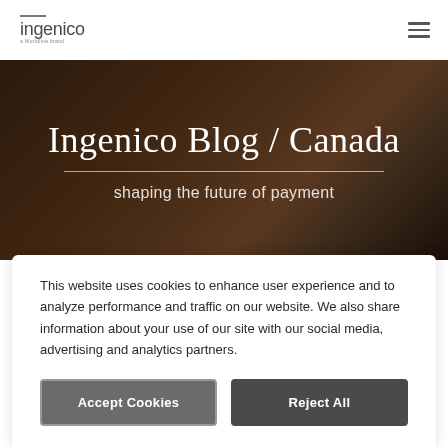ingenico a Worldline brand
Ingenico Blog / Canada
shaping the future of payment
This website uses cookies to enhance user experience and to analyze performance and traffic on our website. We also share information about your use of our site with our social media, advertising and analytics partners.
Accept Cookies
Reject All